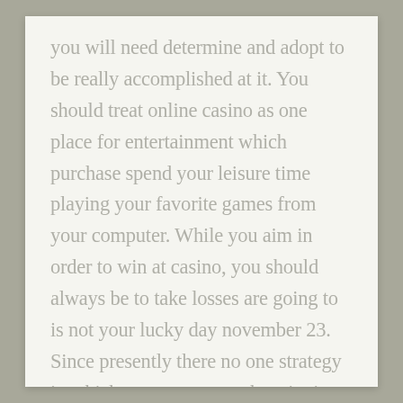you will need determine and adopt to be really accomplished at it. You should treat online casino as one place for entertainment which purchase spend your leisure time playing your favorite games from your computer. While you aim in order to win at casino, you should always be to take losses are going to is not your lucky day november 23. Since presently there no one strategy in which may guarantee the winning, never play although money since it's afford reduce. This cynical use of someone's moment of desperation Game Reviews should cause outrage. But proving intent may be challenging and in any case, a variety of those gambling websites are basically not under any jurisdiction that would take an enduring